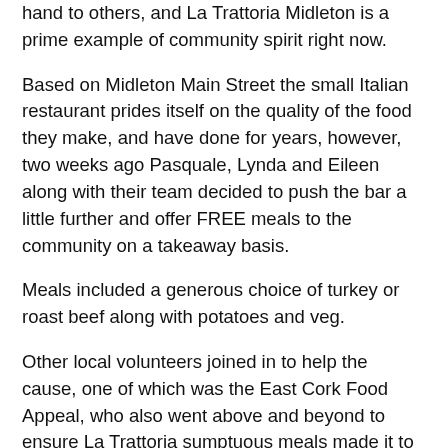hand to others, and La Trattoria Midleton is a prime example of community spirit right now.
Based on Midleton Main Street the small Italian restaurant prides itself on the quality of the food they make, and have done for years, however, two weeks ago Pasquale, Lynda and Eileen along with their team decided to push the bar a little further and offer FREE meals to the community on a takeaway basis.
Meals included a generous choice of turkey or roast beef along with potatoes and veg.
Other local volunteers joined in to help the cause, one of which was the East Cork Food Appeal, who also went above and beyond to ensure La Trattoria sumptuous meals made it to homes of people who really needed the help.